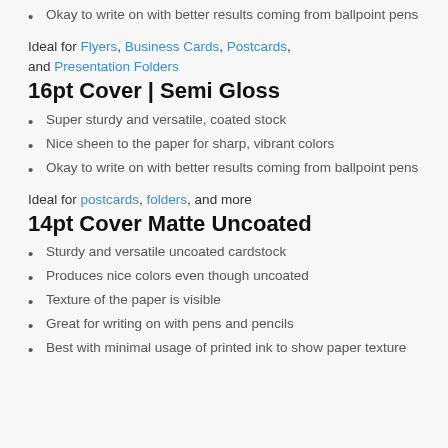Okay to write on with better results coming from ballpoint pens
Ideal for Flyers, Business Cards, Postcards, and Presentation Folders
16pt Cover | Semi Gloss
Super sturdy and versatile, coated stock
Nice sheen to the paper for sharp, vibrant colors
Okay to write on with better results coming from ballpoint pens
Ideal for postcards, folders, and more
14pt Cover Matte Uncoated
Sturdy and versatile uncoated cardstock
Produces nice colors even though uncoated
Texture of the paper is visible
Great for writing on with pens and pencils
Best with minimal usage of printed ink to show paper texture